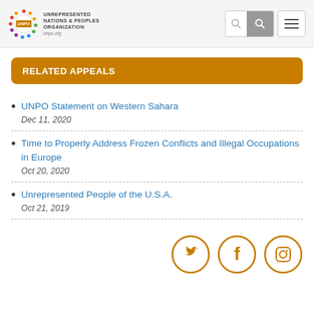UNPO - Unrepresented Nations & Peoples Organization | unpo.org
RELATED APPEALS
UNPO Statement on Western Sahara
Dec 11, 2020
Time to Properly Address Frozen Conflicts and Illegal Occupations in Europe
Oct 20, 2020
Unrepresented People of the U.S.A.
Oct 21, 2019
[Figure (other): Social media icons: Twitter, Facebook, Instagram (gold outlined circles)]